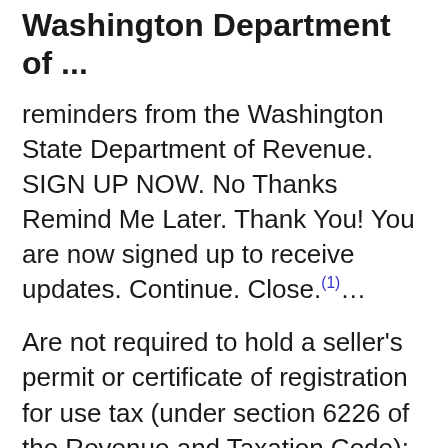Washington Department of ...
reminders from the Washington State Department of Revenue. SIGN UP NOW. No Thanks Remind Me Later. Thank You! You are now signed up to receive updates. Continue. Close.(1)...
Are not required to hold a seller’s permit or certificate of registration for use tax (under section 6226 of the Revenue and Taxation Code); Are not a holder of a use tax direct payment (2)...
5 steps1.Start by researching what